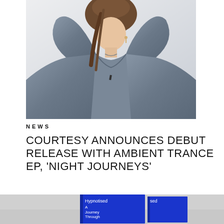[Figure (photo): Young woman wearing an oversized denim jacket, photographed against a white background, looking to the side]
NEWS
COURTESY ANNOUNCES DEBUT RELEASE WITH AMBIENT TRANCE EP, 'NIGHT JOURNEYS'
[Figure (photo): Two blue books standing upright showing text: Hypnotised, A Journey Through Trance Music]